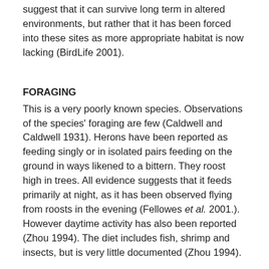suggest that it can survive long term in altered environments, but rather that it has been forced into these sites as more appropriate habitat is now lacking (BirdLife 2001).
FORAGING
This is a very poorly known species. Observations of the species' foraging are few (Caldwell and Caldwell 1931). Herons have been reported as feeding singly or in isolated pairs feeding on the ground in ways likened to a bittern. They roost high in trees. All evidence suggests that it feeds primarily at night, as it has been observed flying from roosts in the evening (Fellowes et al. 2001.). However daytime activity has also been reported (Zhou 1994). The diet includes fish, shrimp and insects, but is very little documented (Zhou 1994).
BREEDING